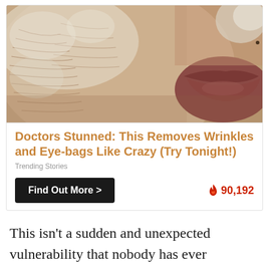[Figure (photo): Close-up photo of elderly person's face showing wrinkled, dry skin with white cream or powder applied, lips visible on the right side]
Doctors Stunned: This Removes Wrinkles and Eye-bags Like Crazy (Try Tonight!)
Trending Stories
Find Out More >
🔥 90,192
This isn't a sudden and unexpected vulnerability that nobody has ever